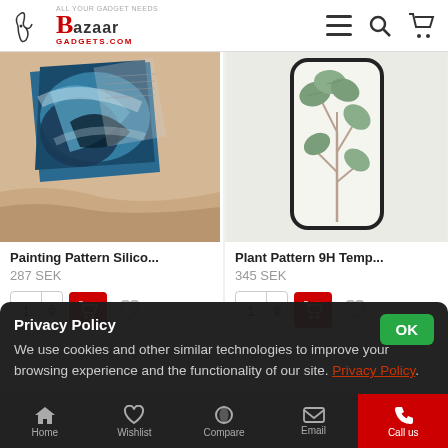Bazaar Gadgets - header with logo and nav icons
[Figure (photo): Painting pattern abstract art with blue and teal tones on fabric background - product image for silicone phone case]
Painting Pattern Silico...
287 SEK
[Figure (photo): Plant pattern with green eucalyptus leaves on white phone case with black border]
Plant Pattern 9H Temp...
345 SEK
Privacy Policy
We use cookies and other similar technologies to improve your browsing experience and the functionality of our site. Privacy Policy.
Home  Wishlist  Compare  Email  Call us